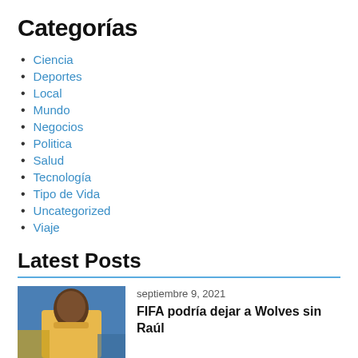Categorías
Ciencia
Deportes
Local
Mundo
Negocios
Politica
Salud
Tecnología
Tipo de Vida
Uncategorized
Viaje
Latest Posts
[Figure (photo): Photo of a soccer player in yellow/blue jersey]
septiembre 9, 2021
FIFA podría dejar a Wolves sin Raúl